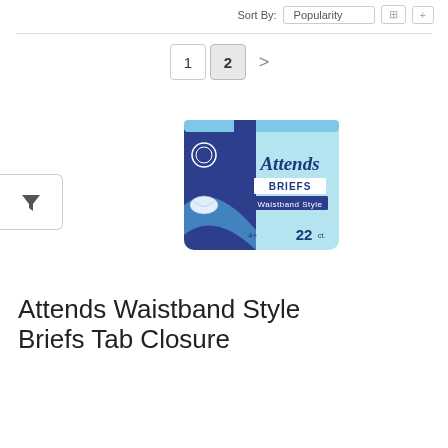Sort By: Popularity
[Figure (screenshot): Pagination controls showing page 1, page 2 (selected), and next arrow]
[Figure (photo): Attends Briefs Waistband Style 22 count product package — blue and light blue box]
Attends Waistband Style Briefs Tab Closure